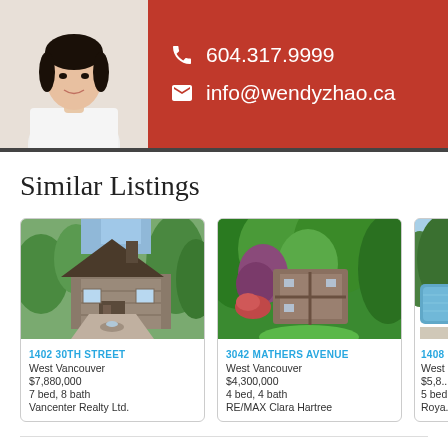604.317.9999 | info@wendyzhao.ca
Similar Listings
[Figure (photo): Exterior photo of a large stone house with a fountain in the driveway, surrounded by trees]
1402 30TH STREET
West Vancouver
$7,880,000
7 bed, 8 bath
Vancenter Realty Ltd.
[Figure (photo): Aerial photo of a house surrounded by lush green trees and gardens]
3042 MATHERS AVENUE
West Vancouver
$4,300,000
4 bed, 4 bath
RE/MAX Clara Hartree
[Figure (photo): Partial view of a property with a pool, partially cut off at the right edge of the page]
1408
West
$5,8…
5 bed…
Roya…